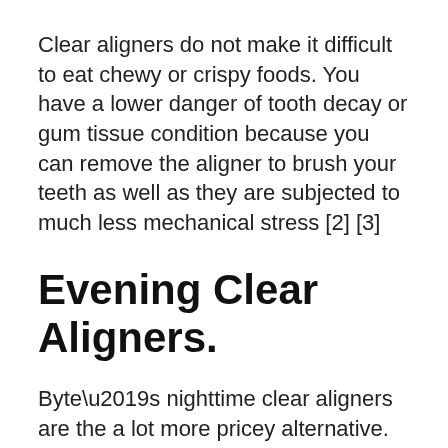Clear aligners do not make it difficult to eat chewy or crispy foods. You have a lower danger of tooth decay or gum tissue condition because you can remove the aligner to brush your teeth as well as they are subjected to much less mechanical stress [2] [3]
Evening Clear Aligners.
Byte’s nighttime clear aligners are the a lot more pricey alternative. On the other hand, you may find them easier as they are developed to only be put on for 10 hrs in the evening, mainly while you’re resting. Your therapy period will also be longer when picking Byte During the night, with at least 5